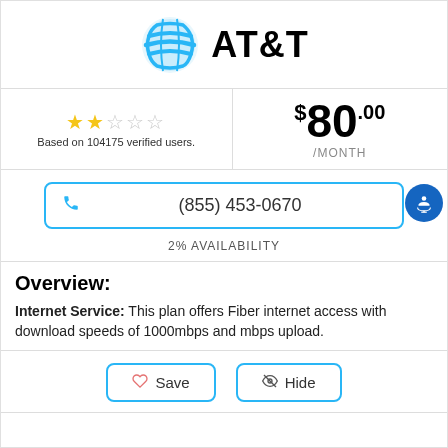[Figure (logo): AT&T logo with blue globe icon and bold AT&T text]
★★☆☆☆ Based on 104175 verified users.
$80.00 /MONTH
(855) 453-0670
2% AVAILABILITY
Overview:
Internet Service: This plan offers Fiber internet access with download speeds of 1000mbps and mbps upload.
Save   Hide